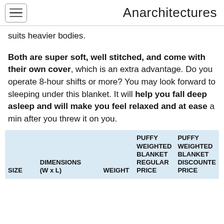Anarchitectures
suits heavier bodies.
Both are super soft, well stitched, and come with their own cover, which is an extra advantage. Do you operate 8-hour shifts or more? You may look forward to sleeping under this blanket. It will help you fall deep asleep and will make you feel relaxed and at ease a min after you threw it on you.
| SIZE | DIMENSIONS (W x L) | WEIGHT | PUFFY WEIGHTED BLANKET REGULAR PRICE | PUFFY WEIGHTED BLANKET DISCOUNTED PRICE |
| --- | --- | --- | --- | --- |